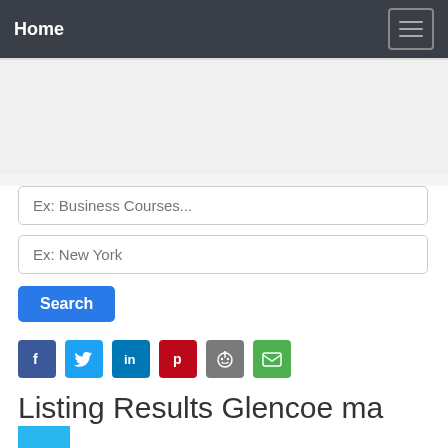Home
Ex: Business Courses...
Ex: New York
Search
[Figure (other): Social share icons row: Facebook, Twitter, LinkedIn, Pinterest, Reddit, Email]
Listing Results Glencoe ma course 2 answers